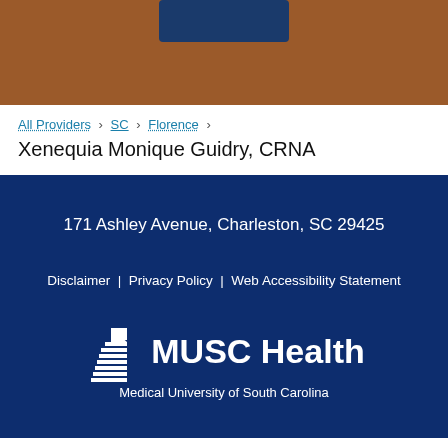[Figure (other): Brown header bar with dark blue button at top center]
All Providers > SC > Florence >
Xenequia Monique Guidry, CRNA
171 Ashley Avenue, Charleston, SC 29425
Disclaimer | Privacy Policy | Web Accessibility Statement
[Figure (logo): MUSC Health logo with building icon and text 'Medical University of South Carolina']